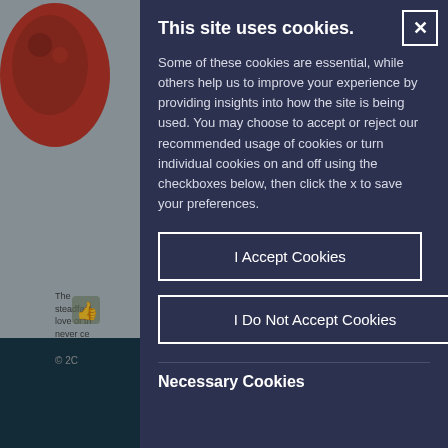[Figure (screenshot): Background website showing a red circular logo/illustration in the top-left, grey background, small text snippets, a dark teal footer strip, a thumbs-up icon, and a gear icon in the bottom-right corner.]
This site uses cookies.
Some of these cookies are essential, while others help us to improve your experience by providing insights into how the site is being used. You may choose to accept or reject our recommended usage of cookies or turn individual cookies on and off using the checkboxes below, then click the x to save your preferences.
I Accept Cookies
I Do Not Accept Cookies
Necessary Cookies